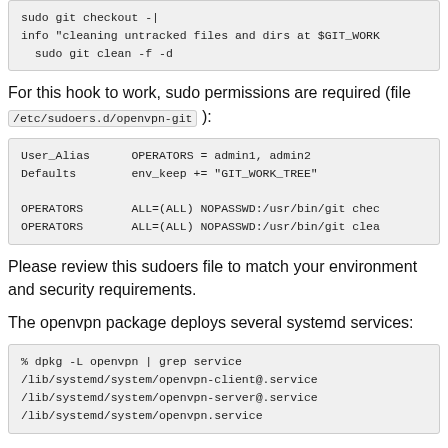sudo git checkout -|
info "cleaning untracked files and dirs at $GIT_WORK
sudo git clean -f -d
For this hook to work, sudo permissions are required (file /etc/sudoers.d/openvpn-git ):
User_Alias      OPERATORS = admin1, admin2
Defaults        env_keep += "GIT_WORK_TREE"

OPERATORS       ALL=(ALL) NOPASSWD:/usr/bin/git chec
OPERATORS       ALL=(ALL) NOPASSWD:/usr/bin/git clea
Please review this sudoers file to match your environment and security requirements.
The openvpn package deploys several systemd services:
% dpkg -L openvpn | grep service
/lib/systemd/system/openvpn-client@.service
/lib/systemd/system/openvpn-server@.service
/lib/systemd/system/openvpn.service